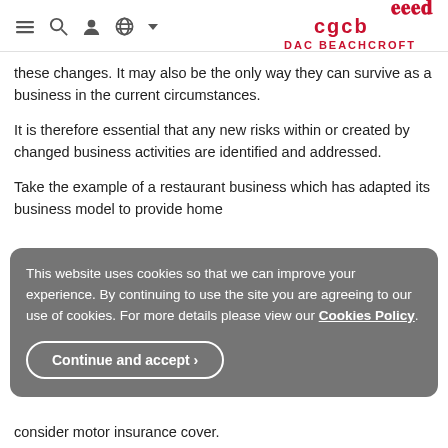DAC BEACHCROFT
these changes. It may also be the only way they can survive as a business in the current circumstances.
It is therefore essential that any new risks within or created by changed business activities are identified and addressed.
Take the example of a restaurant business which has adapted its business model to provide home
This website uses cookies so that we can improve your experience. By continuing to use the site you are agreeing to our use of cookies. For more details please view our Cookies Policy.
Continue and accept ›
consider motor insurance cover.